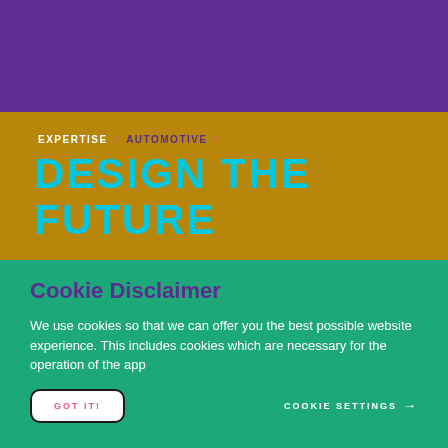EXPERTISE / AUTOMOTIVE /
DESIGN THE FUTURE
Cookie Disclaimer
We use cookies so that we can offer you the best possible website experience. This includes cookies which are necessary for the operation of the app
GOT IT!
COOKIE SETTINGS →